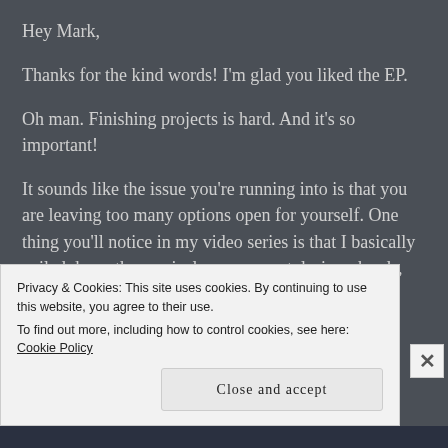Hey Mark,
Thanks for the kind words! I'm glad you liked the EP.
Oh man. Finishing projects is hard. And it's so important!
It sounds like the issue you're running into is that you are leaving too many options open for yourself. One thing you'll notice in my video series is that I basically nailed down the musical arrangement, lyrics, chords, transitions, etc. for all of my songs before I even recorded a single track.
That may not work for everybody, but here's my opinion. I
Privacy & Cookies: This site uses cookies. By continuing to use this website, you agree to their use.
To find out more, including how to control cookies, see here: Cookie Policy
Close and accept